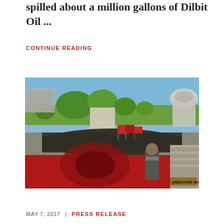spilled about a million gallons of Dilbit Oil ...
CONTINUE READING
[Figure (photo): Outdoor protest rally on the steps of what appears to be a state capitol building. A large crowd of people are gathered, some holding red flags and a large red and black banner in the foreground. Trees and a plaza are visible in the background with a domed building on the right. A UNICORN RIOT watermark is in the lower right corner.]
MAY 7, 2017  |  PRESS RELEASE